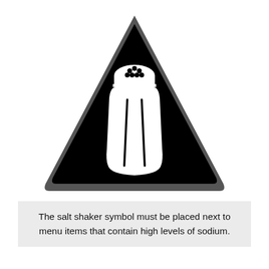[Figure (illustration): A black warning triangle (with rounded corners and a dark gray border/outline) containing a white salt shaker icon centered inside it. The salt shaker has dots on its cap representing holes and two vertical lines on its body.]
The salt shaker symbol must be placed next to menu items that contain high levels of sodium.